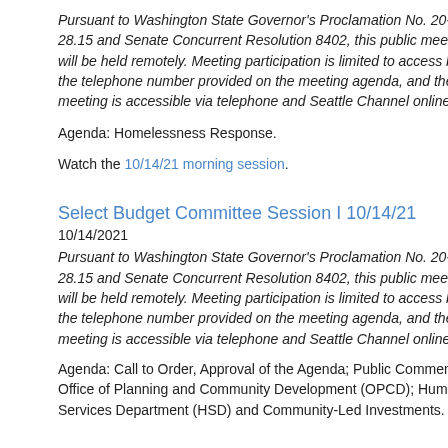Pursuant to Washington State Governor's Proclamation No. 20-28.15 and Senate Concurrent Resolution 8402, this public meeting will be held remotely. Meeting participation is limited to access by the telephone number provided on the meeting agenda, and the meeting is accessible via telephone and Seattle Channel online.
Agenda: Homelessness Response.
Watch the 10/14/21 morning session.
Select Budget Committee Session I 10/14/21
10/14/2021
Pursuant to Washington State Governor's Proclamation No. 20-28.15 and Senate Concurrent Resolution 8402, this public meeting will be held remotely. Meeting participation is limited to access by the telephone number provided on the meeting agenda, and the meeting is accessible via telephone and Seattle Channel online.
Agenda: Call to Order, Approval of the Agenda; Public Comment; Office of Planning and Community Development (OPCD); Human Services Department (HSD) and Community-Led Investments.